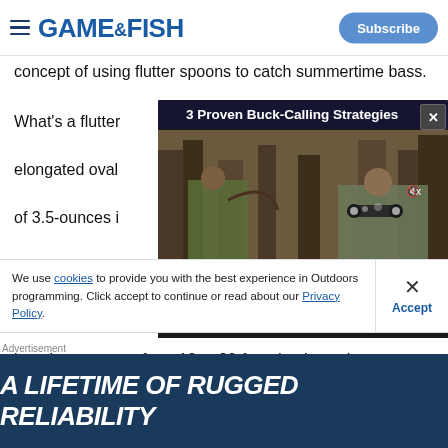GAME&FISH | Subscribe
concept of using flutter spoons to catch summertime bass.
What's a flutter spoon? It's an elongated oval... of 3.5-ounces in... always the easi... phenomenal on... into deeper water from 10 to 30-foot depths as bass
[Figure (screenshot): Video player overlay titled '3 Proven Buck-Calling Strategies' showing a hunter in camouflage in a forest, with playback controls showing 00:00 / 02:51]
We use cookies to provide you with the best experience in Outdoors programming. Click accept to continue or read about our Privacy Policy.
Advertisement
[Figure (illustration): Dark blue advertisement banner with white bold italic text reading 'A LIFETIME OF RUGGED RELIABILITY']